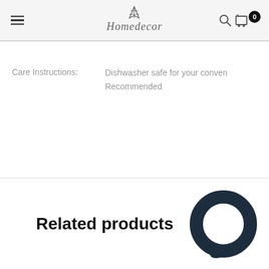Homedecor
Care Instructions: Dishwasher safe for your convenience. Hand Wash Recommended
Related products
[Figure (illustration): Chat bubble / circular icon in dark navy color]